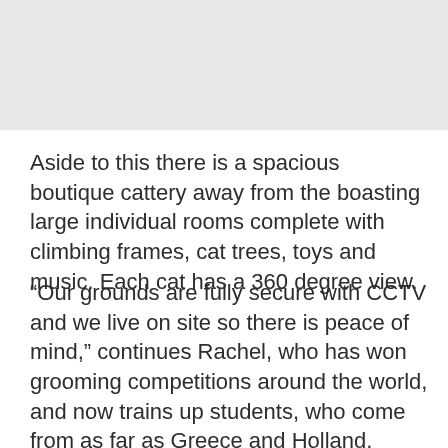[Figure (photo): Gray/light colored image placeholder at the top of the page]
Aside to this there is a spacious boutique cattery away from the boasting large individual rooms complete with climbing frames, cat trees, toys and music. Each cat has a 360 degree view.
“Our grounds are fully secure with CCTV and we live on site so there is peace of mind,” continues Rachel, who has won grooming competitions around the world, and now trains up students, who come from as far as Greece and Holland.